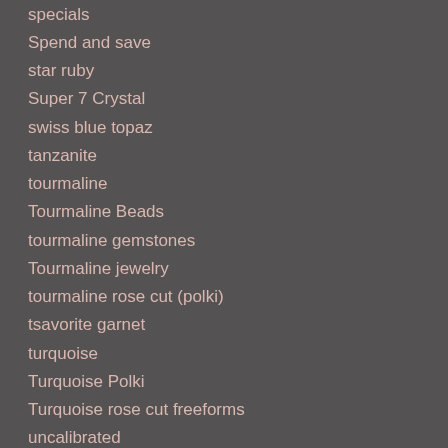specials
Spend and save
star ruby
Super 7 Crystal
swiss blue topaz
tanzanite
tourmaline
Tourmaline Beads
tourmaline gemstones
Tourmaline jewelry
tourmaline rose cut (polki)
tsavorite garnet
turquoise
Turquoise Polki
Turquoise rose cut freeforms
uncalibrated
Uncategorized
watermelon tourmaline